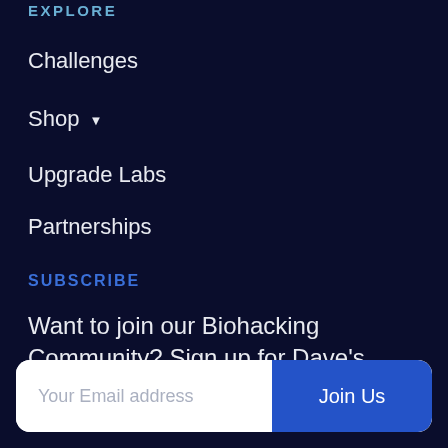EXPLORE
Challenges
Shop ▾
Upgrade Labs
Partnerships
SUBSCRIBE
Want to join our Biohacking Community? Sign up for Dave's newsletter today.
Your Email address | Join Us